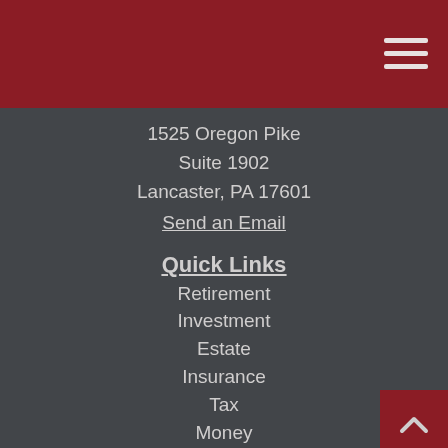1525 Oregon Pike
Suite 1902
Lancaster, PA 17601
Send an Email
Quick Links
Retirement
Investment
Estate
Insurance
Tax
Money
Lifestyle
All Articles
All Videos
All Calculators
All Presentations